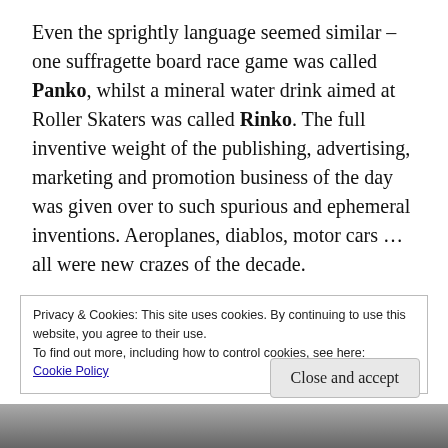Even the sprightly language seemed similar – one suffragette board race game was called Panko, whilst a mineral water drink aimed at Roller Skaters was called Rinko. The full inventive weight of the publishing, advertising, marketing and promotion business of the day was given over to such spurious and ephemeral inventions. Aeroplanes, diablos, motor cars … all were new crazes of the decade.
Privacy & Cookies: This site uses cookies. By continuing to use this website, you agree to their use. To find out more, including how to control cookies, see here: Cookie Policy
Close and accept
[Figure (photo): Partial photograph visible at the bottom of the page, showing items on a surface]